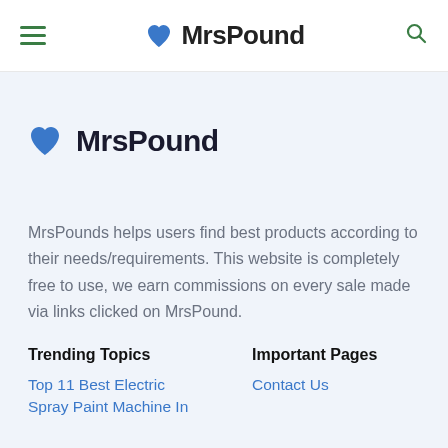MrsPound
MrsPound
MrsPounds helps users find best products according to their needs/requirements. This website is completely free to use, we earn commissions on every sale made via links clicked on MrsPound.
Trending Topics
Top 11 Best Electric Spray Paint Machine In
Important Pages
Contact Us